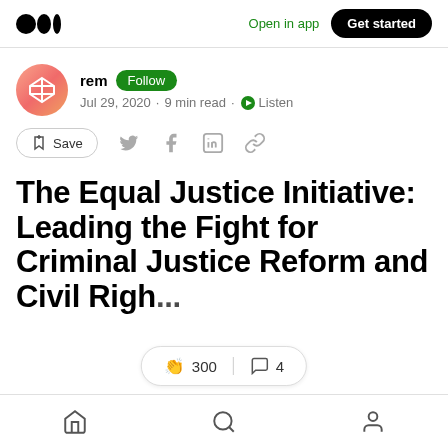Medium logo | Open in app | Get started
rem  Follow
Jul 29, 2020 · 9 min read · Listen
Save (bookmark icon, twitter, facebook, linkedin, link icons)
The Equal Justice Initiative: Leading the Fight for Criminal Justice Reform and Civil Righ...
👏 300 | 💬 4
Home | Search | Profile (bottom navigation)